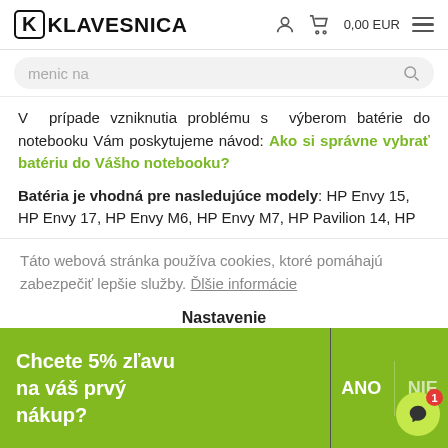K KLAVESNICA | 0,00 EUR
menic na
V prípade vzniknutia problému s výberom batérie do notebooku Vám poskytujeme návod: Ako si správne vybrať batériu do Vášho notebooku?
Batéria je vhodná pre nasledujúce modely: HP Envy 15, HP Envy 17, HP Envy M6, HP Envy M7, HP Pavilion 14, HP
Táto webová stránka používa cookies, ktoré pomáhajú zabezpečiť lepšie služby. Ďlšie informácie
Nastavenie
Chcete 5% zľavu na váš prvý nákup?
ANO
NIE